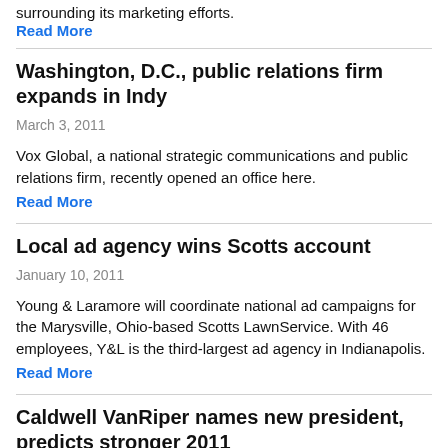surrounding its marketing efforts.
Read More
Washington, D.C., public relations firm expands in Indy
March 3, 2011
Vox Global, a national strategic communications and public relations firm, recently opened an office here.
Read More
Local ad agency wins Scotts account
January 10, 2011
Young & Laramore will coordinate national ad campaigns for the Marysville, Ohio-based Scotts LawnService. With 46 employees, Y&L is the third-largest ad agency in Indianapolis.
Read More
Caldwell VanRiper names new president, predicts stronger 2011